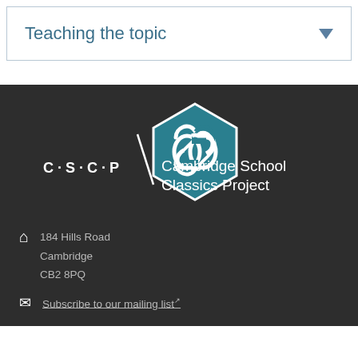Teaching the topic
[Figure (logo): Cambridge School Classics Project logo — teal hexagon with interlocking knot symbol, with 'C·S·C·P' text and 'Cambridge School Classics Project' wordmark]
184 Hills Road
Cambridge
CB2 8PQ
Subscribe to our mailing list